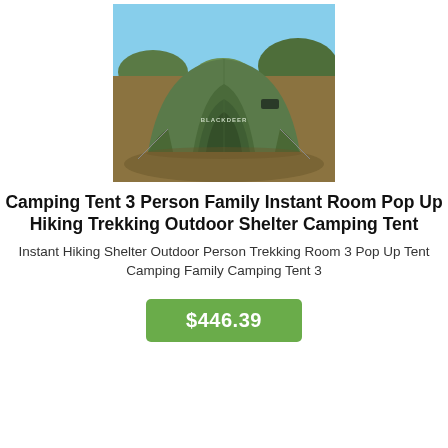[Figure (photo): Green camping tent (Blackdeer brand) set up outdoors on grassy terrain with blue sky and bushes in background]
Camping Tent 3 Person Family Instant Room Pop Up Hiking Trekking Outdoor Shelter Camping Tent
Instant Hiking Shelter Outdoor Person Trekking Room 3 Pop Up Tent Camping Family Camping Tent 3
$446.39